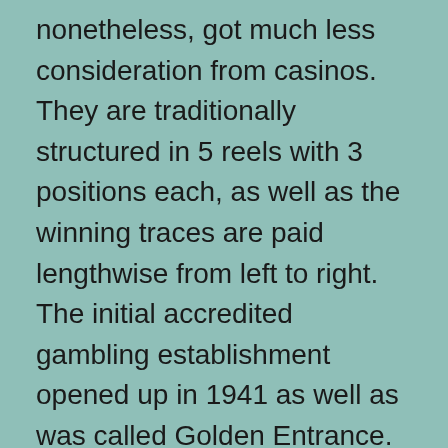nonetheless, got much less consideration from casinos. They are traditionally structured in 5 reels with 3 positions each, as well as the winning traces are paid lengthwise from left to right. The initial accredited gambling establishment opened up in 1941 as well as was called Golden Entrance. At the same time, an in advance unidentified sophisticated emerged, described as El Rancho Las vega, which provided visitors horseback driving, a pool, dancers, and also, actually, remarkable gambling establishment video games.